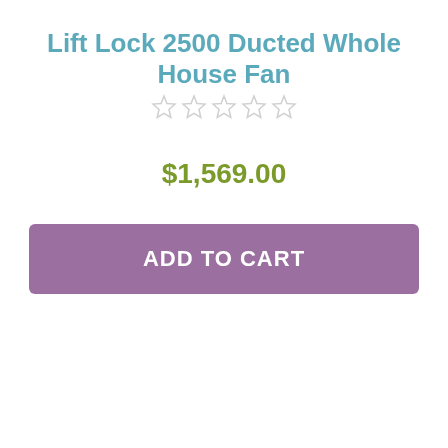Lift Lock 2500 Ducted Whole House Fan
[Figure (other): Five empty star rating icons (no stars filled)]
$1,569.00
ADD TO CART